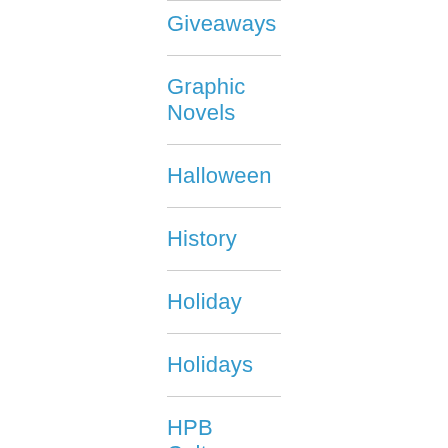Giveaways
Graphic Novels
Halloween
History
Holiday
Holidays
HPB Culture
HPB in the News